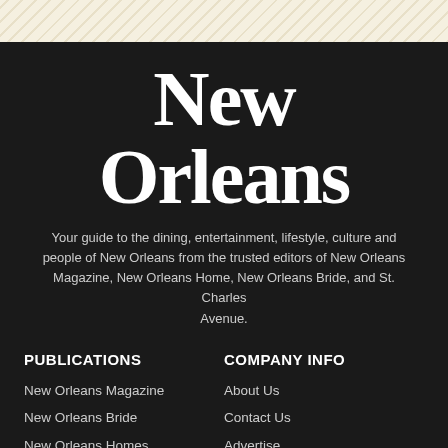[Figure (other): Diagonal stripe pattern background in tan/cream colors]
New Orleans
Your guide to the dining, entertainment, lifestyle, culture and people of New Orleans from the trusted editors of New Orleans Magazine, New Orleans Home, New Orleans Bride, and St. Charles Avenue.
PUBLICATIONS
New Orleans Magazine
New Orleans Bride
New Orleans Homes
St. Charles Avenue
Biz New Orleans
Louisiana Life
COMPANY INFO
About Us
Contact Us
Advertise
Subscribe
Submit